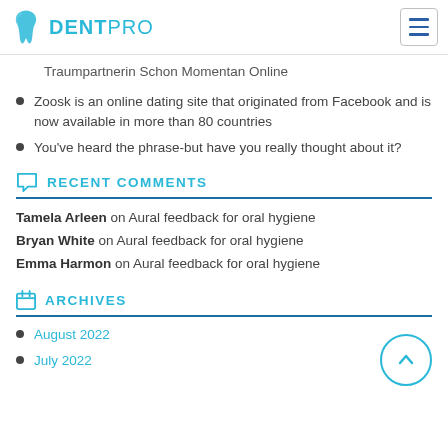DENTPRO
Traumpartnerin Schon Momentan Online
Zoosk is an online dating site that originated from Facebook and is now available in more than 80 countries
You've heard the phrase-but have you really thought about it?
RECENT COMMENTS
Tamela Arleen on Aural feedback for oral hygiene
Bryan White on Aural feedback for oral hygiene
Emma Harmon on Aural feedback for oral hygiene
ARCHIVES
August 2022
July 2022